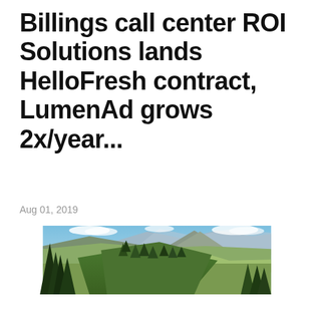Billings call center ROI Solutions lands HelloFresh contract, LumenAd grows 2x/year...
Aug 01, 2019
[Figure (photo): Aerial mountain landscape view with pine trees in the foreground, rolling forested hills in the middle ground, and mountain peaks under a partly cloudy blue sky in the background. Green valleys visible between the ridges.]